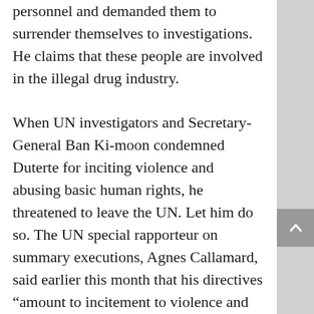personnel and demanded them to surrender themselves to investigations. He claims that these people are involved in the illegal drug industry. When UN investigators and Secretary-General Ban Ki-moon condemned Duterte for inciting violence and abusing basic human rights, he threatened to leave the UN. Let him do so. The UN special rapporteur on summary executions, Agnes Callamard, said earlier this month that his directives “amount to incitement to violence and killing, a crime under international law”. Whether the Philippines is a member or not, UN has the right to condemn this merciless killings and